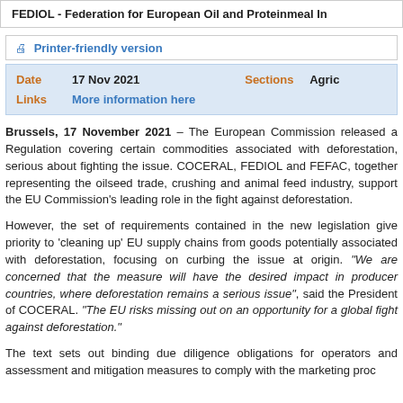FEDIOL - Federation for European Oil and Proteinmeal In
Printer-friendly version
| Field | Value | Field | Value |
| --- | --- | --- | --- |
| Date | 17 Nov 2021 | Sections | Agric |
| Links | More information here |  |  |
Brussels, 17 November 2021 – The European Commission released a Regulation covering certain commodities associated with deforestation, serious about fighting the issue. COCERAL, FEDIOL and FEFAC, together representing the oilseed trade, crushing and animal feed industry, support the EU Commission's leading role in the fight against deforestation.
However, the set of requirements contained in the new legislation gives priority to 'cleaning up' EU supply chains from goods potentially associated with deforestation, focusing on curbing the issue at origin. "We are concerned that the measure will have the desired impact in producer countries, where deforestation remains a serious issue", said the President of COCERAL. "The EU risks missing out on an opportunity for a global fight against deforestation."
The text sets out binding due diligence obligations for operators and assessment and mitigation measures to comply with the marketing